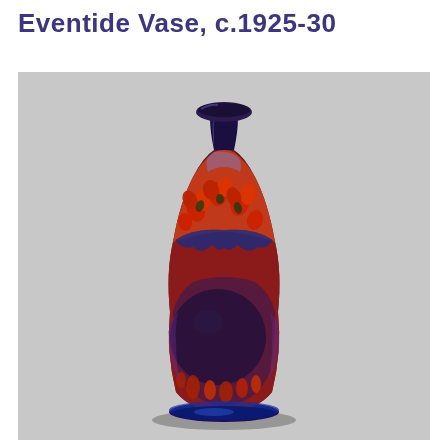Eventide Vase, c.1925-30
[Figure (photo): A ceramic vase decorated in Moorcroft Eventide style, circa 1925-30. The vase has a classic baluster form with a narrow neck and flared rim. The glaze features deep red, purple, and dark blue tones with a landscape-style decoration showing red poppy-like flowers and a large dark circular motif (moon or sun) against a rich burgundy-red background. The base has deep cobalt blue glaze. The vase is photographed against a light grey background.]